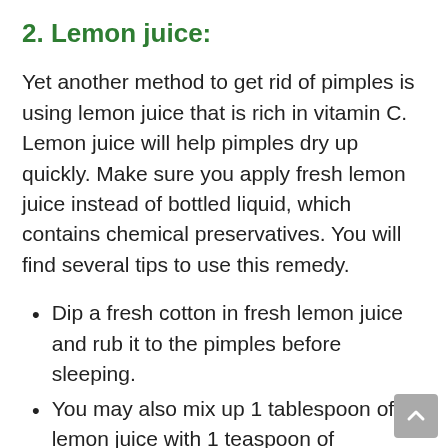2. Lemon juice:
Yet another method to get rid of pimples is using lemon juice that is rich in vitamin C. Lemon juice will help pimples dry up quickly. Make sure you apply fresh lemon juice instead of bottled liquid, which contains chemical preservatives. You will find several tips to use this remedy.
Dip a fresh cotton in fresh lemon juice and rub it to the pimples before sleeping.
You may also mix up 1 tablespoon of lemon juice with 1 teaspoon of cinnamon powder and apply it the